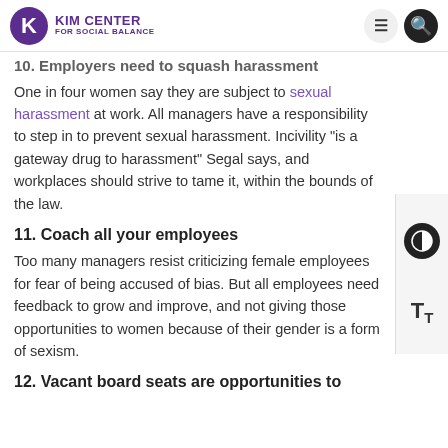KIM CENTER FOR SOCIAL BALANCE
10. Employers need to squash harassment
One in four women say they are subject to sexual harassment at work. All managers have a responsibility to step in to prevent sexual harassment. Incivility “is a gateway drug to harassment” Segal says, and workplaces should strive to tame it, within the bounds of the law.
11. Coach all your employees
Too many managers resist criticizing female employees for fear of being accused of bias. But all employees need feedback to grow and improve, and not giving those opportunities to women because of their gender is a form of sexism.
12. Vacant board seats are opportunities to